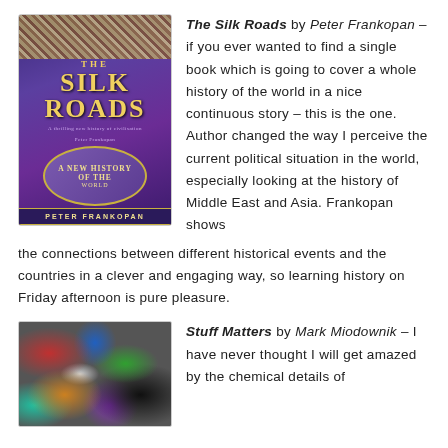[Figure (photo): Book cover of 'The Silk Roads: A New History of the World' by Peter Frankopan – purple and gold mosaic-style cover]
The Silk Roads by Peter Frankopan – if you ever wanted to find a single book which is going to cover a whole history of the world in a nice continuous story – this is the one. Author changed the way I perceive the current political situation in the world, especially looking at the history of Middle East and Asia. Frankopan shows the connections between different historical events and the countries in a clever and engaging way, so learning history on Friday afternoon is pure pleasure.
[Figure (photo): Book cover of 'Stuff Matters' by Mark Miodownik – image of various colourful gemstones and minerals]
Stuff Matters by Mark Miodownik – I have never thought I will get amazed by the chemical details of